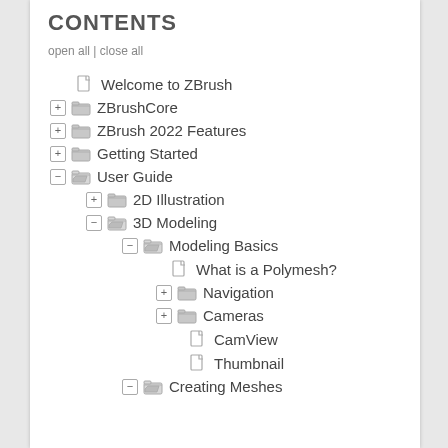CONTENTS
open all | close all
Welcome to ZBrush
ZBrushCore
ZBrush 2022 Features
Getting Started
User Guide
2D Illustration
3D Modeling
Modeling Basics
What is a Polymesh?
Navigation
Cameras
CamView
Thumbnail
Creating Meshes